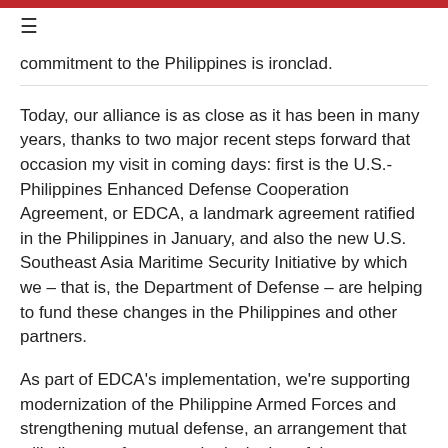≡
commitment to the Philippines is ironclad.
Today, our alliance is as close as it has been in many years, thanks to two major recent steps forward that occasion my visit in coming days: first is the U.S.-Philippines Enhanced Defense Cooperation Agreement, or EDCA, a landmark agreement ratified in the Philippines in January, and also the new U.S. Southeast Asia Maritime Security Initiative by which we – that is, the Department of Defense – are helping to fund these changes in the Philippines and other partners.
As part of EDCA's implementation, we're supporting modernization of the Philippine Armed Forces and strengthening mutual defense, an arrangement that will allow our forces, at the invitation of the Government of the